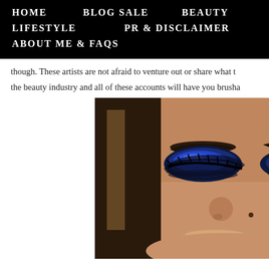HOME   BLOG SALE   BEAUTY
LIFESTYLE   PR & DISCLAIMER
ABOUT ME & FAQs
though. These artists are not afraid to venture out or share what t
the beauty industry and all of these accounts will have you brusha
[Figure (photo): Close-up photo of a woman with dramatic blue smoky eye makeup, thick arched brows, and a nude lip, with straight brown hair, looking slightly downward.]